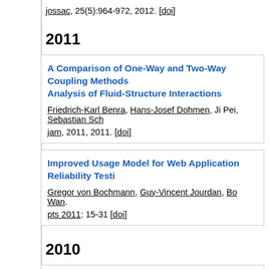jossac, 25(5):964-972, 2012. [doi]
2011
A Comparison of One-Way and Two-Way Coupling Methods for Analysis of Fluid-Structure Interactions. Friedrich-Karl Benra, Hans-Josef Dohmen, Ji Pei, Sebastian Sch. jam, 2011, 2011. [doi]
Improved Usage Model for Web Application Reliability Testi. Gregor von Bochmann, Guy-Vincent Jourdan, Bo Wan. pts 2011: 15-31 [doi]
2010
Seamless map-layer and its seamless rules on distributed h spatial data